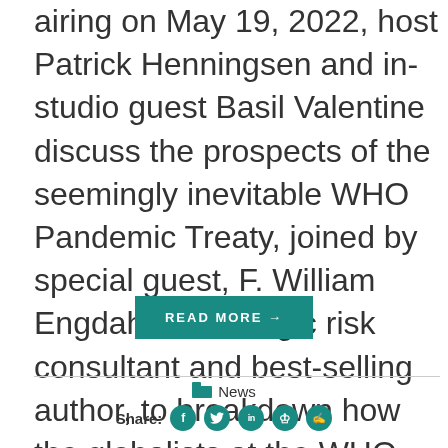airing on May 19, 2022, host Patrick Henningsen and in-studio guest Basil Valentine discuss the prospects of the seemingly inevitable WHO Pandemic Treaty, joined by special guest, F. William Engdahl, a strategic risk consultant and best-selling author, to breakdown how the globalists at the WHO, and its
READ MORE →
News
Share: